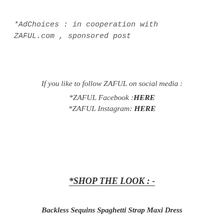*AdChoices : in cooperation with ZAFUL.com , sponsored post
If you like to follow ZAFUL on social media :
*ZAFUL Facebook : HERE
*ZAFUL Instagram: HERE
*SHOP THE LOOK : -
Backless Sequins Spaghetti Strap Maxi Dress